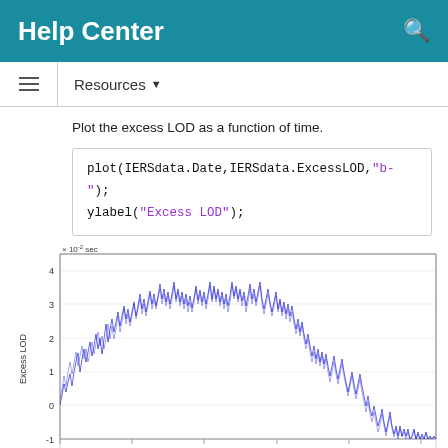Help Center
Resources ▼
Plot the excess LOD as a function of time.
plot(IERSdata.Date,IERSdata.ExcessLOD,"b-");
ylabel("Excess LOD");
[Figure (continuous-plot): Line chart of Excess LOD (x10^-2 sec) vs time (years 1970-2020+). Dense blue oscillating line showing excess LOD values ranging from about -1 to 4.5, with a general trend of high values (~2-4) in 1970s-2000s and declining toward negative values near 2020.]